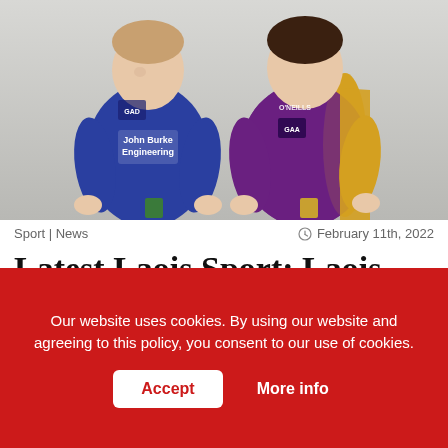[Figure (photo): Two young women standing side by side. Left person wears a blue GAA jersey with 'John Burke Engineering' sponsor text. Right person wears a purple and yellow GAA O'Neills jersey. Both are holding small trophies or awards. Background is a plain light wall.]
Sport | News
February 11th, 2022
Latest Laois Sport: Laois GAA Handball Report
Our website uses cookies. By using our website and agreeing to this policy, you consent to our use of cookies.
Accept
More info